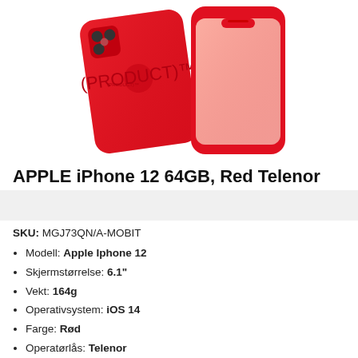[Figure (photo): Two red Apple iPhone 12 phones shown from back and front at an angle on a white background]
APPLE iPhone 12 64GB, Red Telenor
SKU: MGJ73QN/A-MOBIT
Modell: Apple Iphone 12
Skjermstørrelse: 6.1"
Vekt: 164g
Operativsystem: iOS 14
Farge: Rød
Operatørlås: Telenor
Kapasitet: 64GB